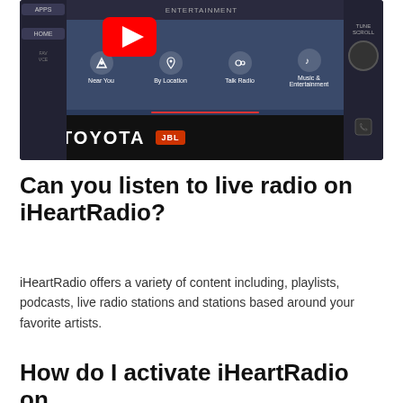[Figure (screenshot): Toyota car infotainment screen showing iHeartRadio interface with Near You, By Location, Talk Radio, and Music & Entertainment options. YouTube logo overlay visible. Toyota branding with JBL badge at bottom.]
Can you listen to live radio on iHeartRadio?
iHeartRadio offers a variety of content including, playlists, podcasts, live radio stations and stations based around your favorite artists.
How do I activate iHeartRadio on